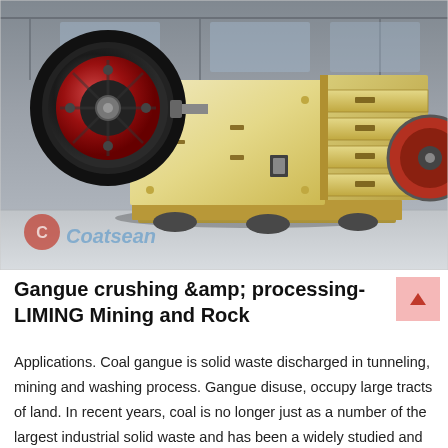[Figure (photo): Industrial jaw crusher machine (cream/yellow colored) with large black flywheel with red rim on the left side, positioned in a factory hall. A smaller red flywheel is visible in the background on the right. The machine has a ribbed side panel and sits on cylindrical feet. A 'Coalsean' watermark logo is visible at the bottom left of the photo.]
Gangue crushing &amp; processing-LIMING Mining and Rock
Applications. Coal gangue is solid waste discharged in tunneling, mining and washing process. Gangue disuse, occupy large tracts of land. In recent years, coal is no longer just as a number of the largest industrial solid waste and has been a widely studied and